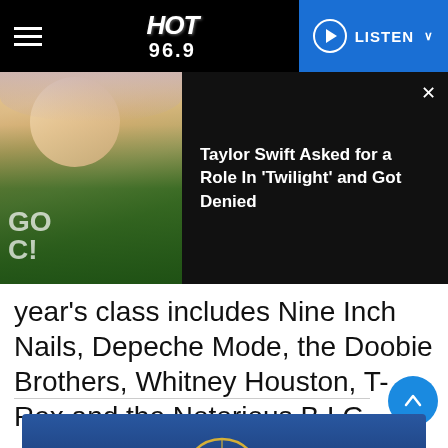HOT 96.9 | LISTEN
[Figure (photo): Taylor Swift photo with notification banner: 'Taylor Swift Asked for a Role In Twilight and Got Denied']
year's class includes Nine Inch Nails, Depeche Mode, the Doobie Brothers, Whitney Houston, T-Rex and the Notorious B.I.G.
[Figure (photo): Ferris wheel at dusk/sunset with blue and orange sky]